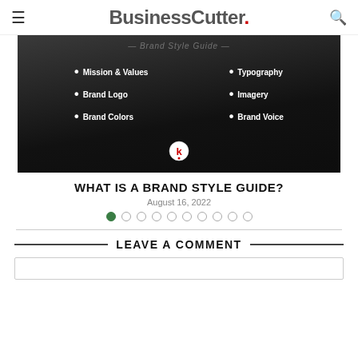BusinessCutter.
[Figure (photo): Dark background photo of notebooks/books with bullet list items overlaid in white text: Mission & Values, Brand Logo, Brand Colors, Typography, Imagery, Brand Voice. A circular 'k' logo badge is at the bottom center.]
WHAT IS A BRAND STYLE GUIDE?
August 16, 2022
LEAVE A COMMENT